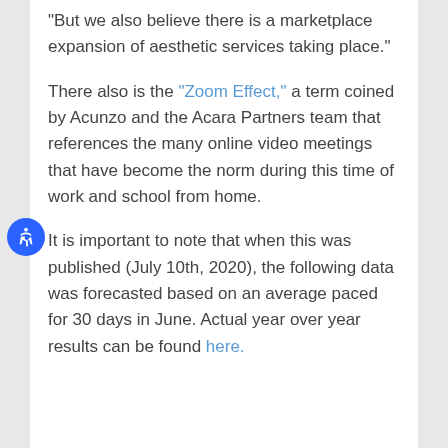"But we also believe there is a marketplace expansion of aesthetic services taking place."
There also is the "Zoom Effect," a term coined by Acunzo and the Acara Partners team that references the many online video meetings that have become the norm during this time of work and school from home.
It is important to note that when this was published (July 10th, 2020), the following data was forecasted based on an average paced for 30 days in June. Actual year over year results can be found here.